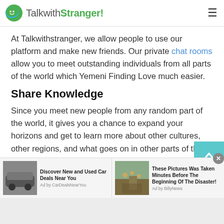TalkwithStranger!
At Talkwithstranger, we allow people to use our platform and make new friends. Our private chat rooms allow you to meet outstanding individuals from all parts of the world which Yemeni Finding Love much easier.
Share Knowledge
Since you meet new people from any random part of the world, it gives you a chance to expand your horizons and get to learn more about other cultures, other regions, and what goes on in other parts of the world.
[Figure (screenshot): Advertisement bar with two ads: 'Discover New and Used Car Deals Near You' by CarDealsNearYou, and 'These Pictures Was Taken Minutes Before The Beginning Of The Disaster!' by BillyNews]